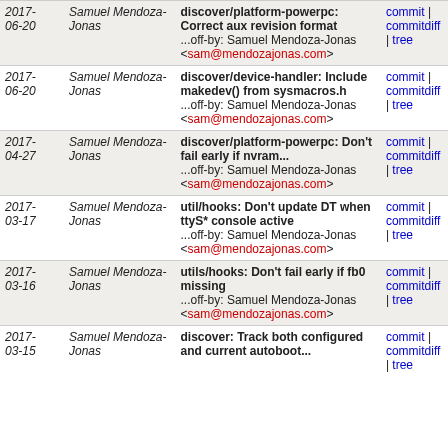| Date | Author | Commit Message | Links |
| --- | --- | --- | --- |
| 2017-06-20 | Samuel Mendoza-Jonas | discover/platform-powerpc: Correct aux revision format ...off-by: Samuel Mendoza-Jonas <sam@mendozajonas.com> | commit | commitdiff | tree |
| 2017-06-20 | Samuel Mendoza-Jonas | discover/device-handler: Include makedev() from sysmacros.h ...off-by: Samuel Mendoza-Jonas <sam@mendozajonas.com> | commit | commitdiff | tree |
| 2017-04-27 | Samuel Mendoza-Jonas | discover/platform-powerpc: Don't fail early if nvram... ...off-by: Samuel Mendoza-Jonas <sam@mendozajonas.com> | commit | commitdiff | tree |
| 2017-03-17 | Samuel Mendoza-Jonas | util/hooks: Don't update DT when ttyS* console active ...off-by: Samuel Mendoza-Jonas <sam@mendozajonas.com> | commit | commitdiff | tree |
| 2017-03-16 | Samuel Mendoza-Jonas | utils/hooks: Don't fail early if fb0 missing ...off-by: Samuel Mendoza-Jonas <sam@mendozajonas.com> | commit | commitdiff | tree |
| 2017-03-15 | Samuel Mendoza-Jonas | discover: Track both configured and current autoboot... | commit | commitdiff | tree |